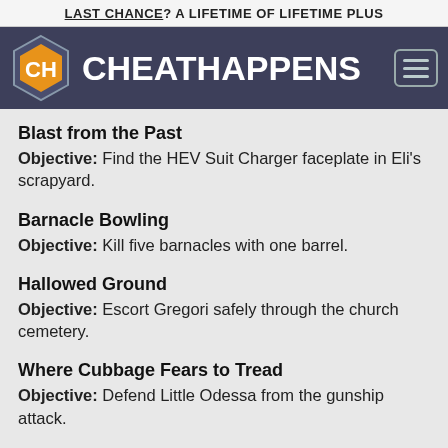LAST CHANCE? A LIFETIME OF LIFETIME PLUS
[Figure (logo): CheatHappens logo with hexagon icon and site name on dark navy navigation bar]
Blast from the Past
Objective: Find the HEV Suit Charger faceplate in Eli's scrapyard.
Barnacle Bowling
Objective: Kill five barnacles with one barrel.
Hallowed Ground
Objective: Escort Gregori safely through the church cemetery.
Where Cubbage Fears to Tread
Objective: Defend Little Odessa from the gunship attack.